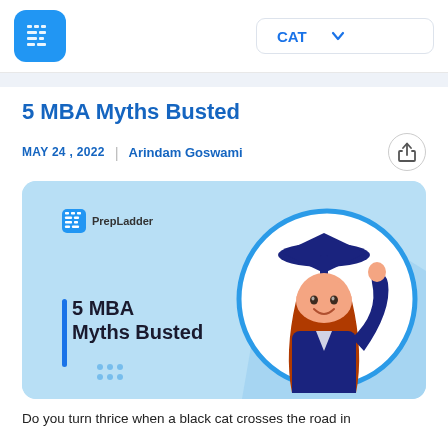PrepLadder | CAT
5 MBA Myths Busted
MAY 24 , 2022  |  Arindam Goswami
[Figure (illustration): PrepLadder branded article banner with light blue background. Left side shows bold text '5 MBA Myths Busted' with a vertical blue accent bar. Right side shows a circular framed photo of a young woman in graduation cap and gown, smiling and pointing upward. The PrepLadder logo and name appear in the top-left of the banner.]
Do you turn thrice when a black cat crosses the road in